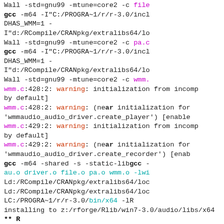Compiler output log showing gcc compilation steps, warnings about wmm.c initialization from incompatible pointer types, linking steps, and R package build steps (** R, ** preparing package for lazy loading, ** help, *** installing help indices, ** building package indices)